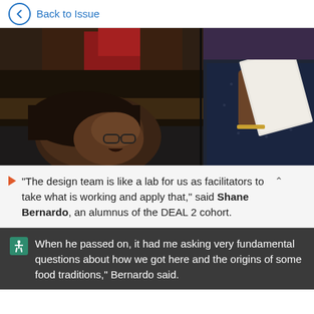Back to Issue
[Figure (photo): A man with dark hair and glasses looking up and to the side, with other people in the background. A person holding papers is visible on the right side.]
“The design team is like a lab for us as facilitators to take what is working and apply that,” said Shane Bernardo, an alumnus of the DEAL 2 cohort.
When he passed on, it had me asking very fundamental questions about how we got here and the origins of some food traditions,” Bernardo said.